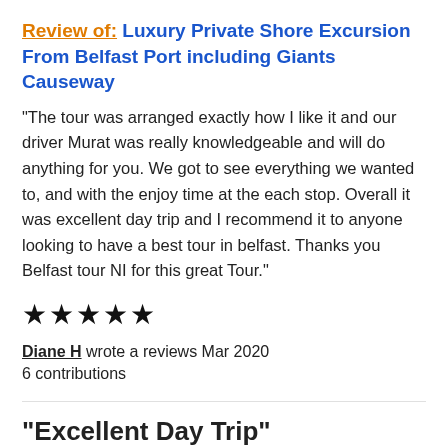Review of: Luxury Private Shore Excursion From Belfast Port including Giants Causeway
“The tour was arranged exactly how I like it and our driver Murat was really knowledgeable and will do anything for you. We got to see everything we wanted to, and with the enjoy time at the each stop. Overall it was excellent day trip and I recommend it to anyone looking to have a best tour in belfast. Thanks you Belfast tour NI for this great Tour.”
★★★★★
Diane H wrote a reviews Mar 2020
6 contributions
"Excellent Day Trip"